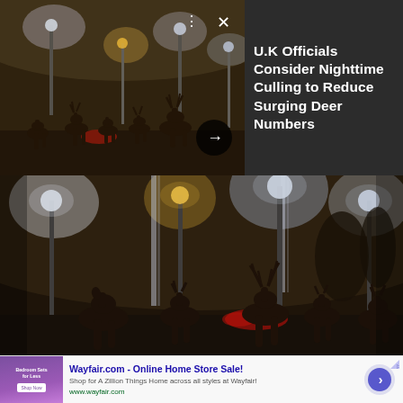[Figure (photo): Thumbnail image of deer silhouettes at night under street lights in foggy urban setting, with Field Stream logo overlay, progress bar, close button, and forward arrow circle.]
U.K Officials Consider Nighttime Culling to Reduce Surging Deer Numbers
[Figure (photo): Large photo of deer silhouettes standing in a foggy urban area at night, illuminated by bright street lights and red tail lights from traffic.]
[Figure (screenshot): Advertisement for Wayfair.com - Online Home Store Sale! with thumbnail showing bedroom furniture deal, text description, URL www.wayfair.com, and a blue arrow circle button.]